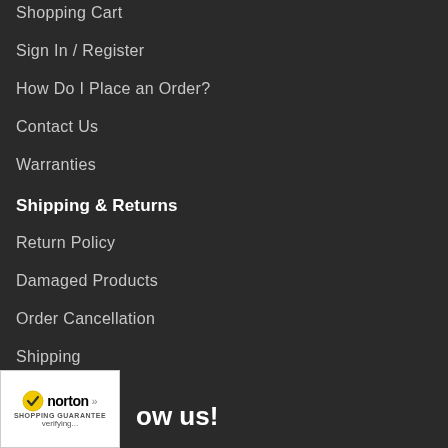Shopping Cart
Sign In / Register
How Do I Place an Order?
Contact Us
Warranties
Shipping & Returns
Return Policy
Damaged Products
Order Cancellation
Shipping
Helpful Info
About Us
No Sales Tax
Privacy Policy
Site Map
[Figure (logo): Norton Shopping Guarantee badge with checkmark logo, text 'norton' and 'SHOPPING GUARANTEE', and 'verifying...' text]
ow us!